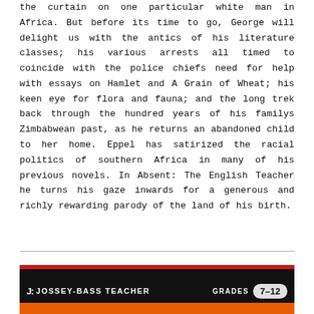the curtain on one particular white man in Africa. But before its time to go, George will delight us with the antics of his literature classes; his various arrests all timed to coincide with the police chiefs need for help with essays on Hamlet and A Grain of Wheat; his keen eye for flora and fauna; and the long trek back through the hundred years of his familys Zimbabwean past, as he returns an abandoned child to her home. Eppel has satirized the racial politics of southern Africa in many of his previous novels. In Absent: The English Teacher he turns his gaze inwards for a generous and richly rewarding parody of the land of his birth.
[Figure (other): Jossey-Bass Teacher banner with grades 7-12 badge on dark background with red bar, and partial orange/image strip at bottom]